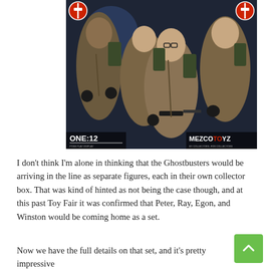[Figure (photo): Mezco Toyz ONE:12 Collective Ghostbusters action figures set showing four characters in Ghostbusters uniforms with proton pack equipment, in a dramatic posed group shot. Branded with ONE:12 and MEZCO TOYZ logos.]
I don't think I'm alone in thinking that the Ghostbusters would be arriving in the line as separate figures, each in their own collector box. That was kind of hinted as not being the case though, and at this past Toy Fair it was confirmed that Peter, Ray, Egon, and Winston would be coming home as a set.
Now we have the full details on that set, and it's pretty impressive